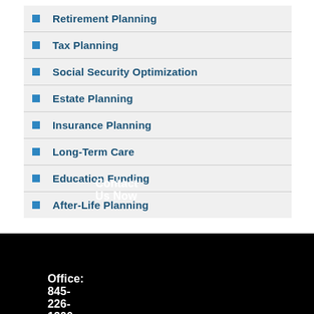Retirement Planning
Tax Planning
Social Security Optimization
Estate Planning
Insurance Planning
Long-Term Care
Education Funding
After-Life Planning
Contact Us Now
Office: 845-226-1200